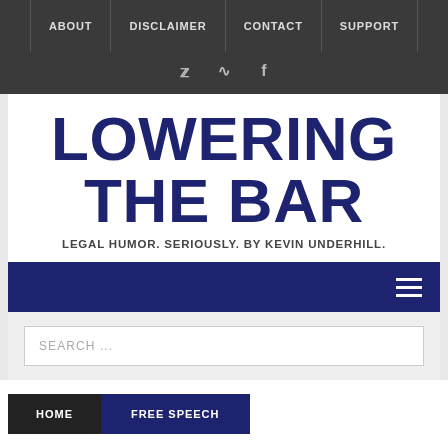ABOUT | DISCLAIMER | CONTACT | SUPPORT
LOWERING THE BAR
LEGAL HUMOR. SERIOUSLY. BY KEVIN UNDERHILL.
SEARCH ...
HOME
FREE SPEECH